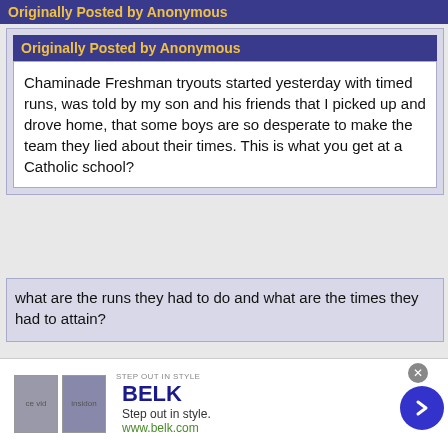Originally Posted by Anonymous
Originally Posted by Anonymous
Chaminade Freshman tryouts started yesterday with timed runs, was told by my son and his friends that I picked up and drove home, that some boys are so desperate to make the team they lied about their times. This is what you get at a Catholic school?
what are the runs they had to do and what are the times they had to attain?
Lying at a Catholic School tryout....that may get you on the team but it isn't getting you past the Pearly Gates! They will forever be banished to fresh/soph
[Figure (screenshot): Advertisement banner for BELK department store. Shows 'STEP OUT IN STYLE' label, BELK logo in blue, tagline 'Step out in style.' and URL 'www.belk.com', two product images, and a blue circular arrow button.]